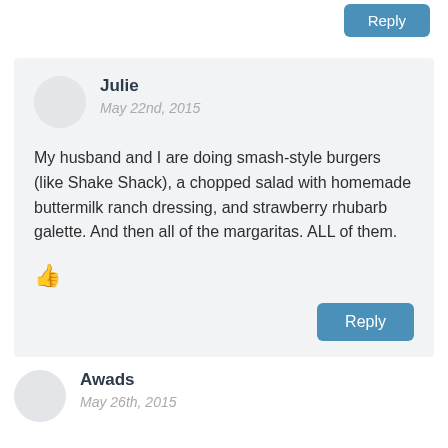Reply
Julie
May 22nd, 2015
My husband and I are doing smash-style burgers (like Shake Shack), a chopped salad with homemade buttermilk ranch dressing, and strawberry rhubarb galette. And then all of the margaritas. ALL of them.
Reply
Awads
May 26th, 2015